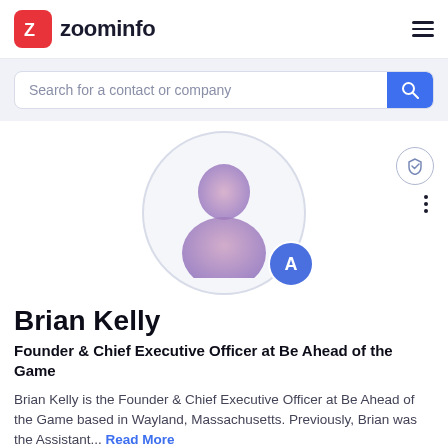[Figure (logo): ZoomInfo logo with red square icon containing white Z and text 'zoominfo']
Search for a contact or company
[Figure (illustration): Generic person avatar silhouette with purple/pink gradient inside a light gray circle, with a blue circle badge showing letter A]
Brian Kelly
Founder & Chief Executive Officer at Be Ahead of the Game
Brian Kelly is the Founder & Chief Executive Officer at Be Ahead of the Game based in Wayland, Massachusetts. Previously, Brian was the Assistant... Read More